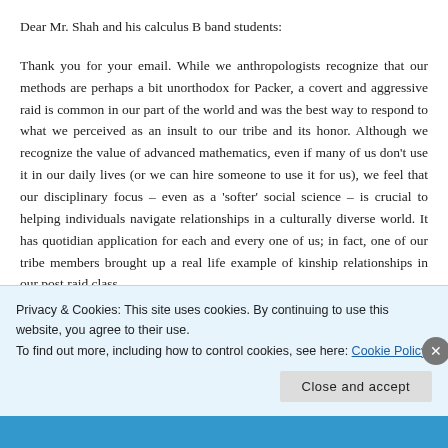Dear Mr. Shah and his calculus B band students:
Thank you for your email. While we anthropologists recognize that our methods are perhaps a bit unorthodox for Packer, a covert and aggressive raid is common in our part of the world and was the best way to respond to what we perceived as an insult to our tribe and its honor. Although we recognize the value of advanced mathematics, even if many of us don't use it in our daily lives (or we can hire someone to use it for us), we feel that our disciplinary focus – even as a 'softer' social science – is crucial to helping individuals navigate relationships in a culturally diverse world. It has quotidian application for each and every one of us; in fact, one of our tribe members brought up a real life example of kinship relationships in our post raid class
Privacy & Cookies: This site uses cookies. By continuing to use this website, you agree to their use.
To find out more, including how to control cookies, see here: Cookie Policy
Close and accept